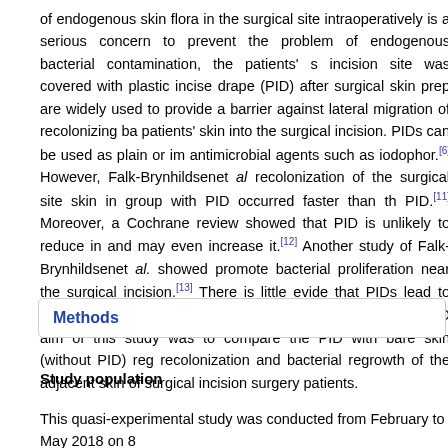of endogenous skin flora in the surgical site intraoperatively is a serious concern to prevent the problem of endogenous bacterial contamination, the patients' s incision site was covered with plastic incise drape (PID) after surgical skin prep are widely used to provide a barrier against lateral migration of recolonizing ba patients' skin into the surgical incision. PIDs can be used as plain or im antimicrobial agents such as iodophor.[6] However, Falk-Brynhildsenet al recolonization of the surgical site skin in group with PID occurred faster than th PID.[11] Moreover, a Cochrane review showed that PID is unlikely to reduce in and may even increase it.[12] Another study of Falk-Brynhildsenet al. showed promote bacterial proliferation near the surgical incision.[13] There is little evide that PIDs lead to reduction of SSI.[14] However, many surgeons routinely use PID aim of this study was to compare the PID with bare skin (without PID) reg recolonization and bacterial regrowth of the adjacent skin of surgical incision surgery patients.
Methods
Study population
This quasi-experimental study was conducted from February to May 2018 on 8